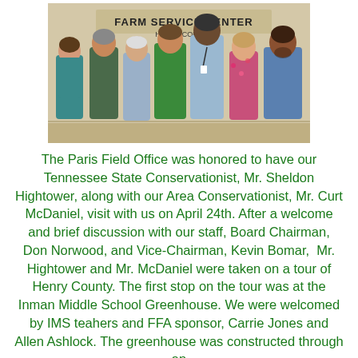[Figure (photo): Group photo of seven people standing in front of a 'Farm Service Center Henry County' sign. From left to right: a woman in teal top, a man in plaid shirt, an older man in light blue shirt, a man in green shirt, a tall Black man in light blue shirt, a woman in floral blouse, and a man in blue plaid shirt.]
The Paris Field Office was honored to have our Tennessee State Conservationist, Mr. Sheldon Hightower, along with our Area Conservationist, Mr. Curt McDaniel, visit with us on April 24th.  After a welcome and brief discussion with our staff, Board Chairman, Don Norwood, and Vice-Chairman, Kevin Bomar,  Mr. Hightower and Mr. McDaniel were taken on a tour of Henry County.  The first stop on the tour was at the Inman Middle School Greenhouse.  We were welcomed by IMS teahers and FFA sponsor, Carrie Jones and Allen Ashlock.  The greenhouse was constructed through an